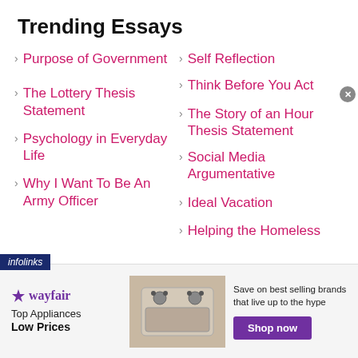Trending Essays
Purpose of Government
Self Reflection
Think Before You Act
The Lottery Thesis Statement
The Story of an Hour Thesis Statement
Psychology in Everyday Life
Social Media Argumentative
Why I Want To Be An Army Officer
Ideal Vacation
Helping the Homeless
[Figure (infographic): Wayfair advertisement banner: Top Appliances Low Prices with appliance image and Shop now button]